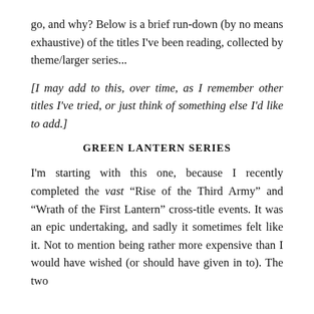go, and why? Below is a brief run-down (by no means exhaustive) of the titles I've been reading, collected by theme/larger series...
[I may add to this, over time, as I remember other titles I've tried, or just think of something else I'd like to add.]
GREEN LANTERN SERIES
I'm starting with this one, because I recently completed the vast “Rise of the Third Army” and “Wrath of the First Lantern” cross-title events. It was an epic undertaking, and sadly it sometimes felt like it. Not to mention being rather more expensive than I would have wished (or should have given in to). The two